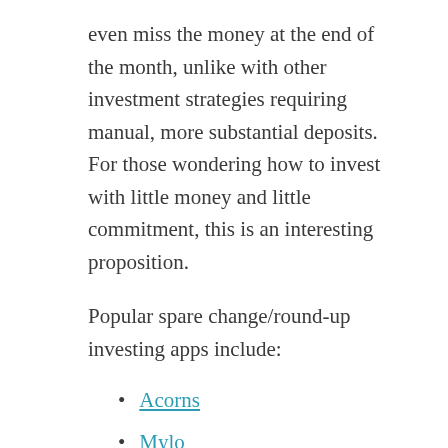even miss the money at the end of the month, unlike with other investment strategies requiring manual, more substantial deposits. For those wondering how to invest with little money and little commitment, this is an interesting proposition.
Popular spare change/round-up investing apps include:
Acorns
Mylo
Chime
Wealthsimple Roundup
Pros